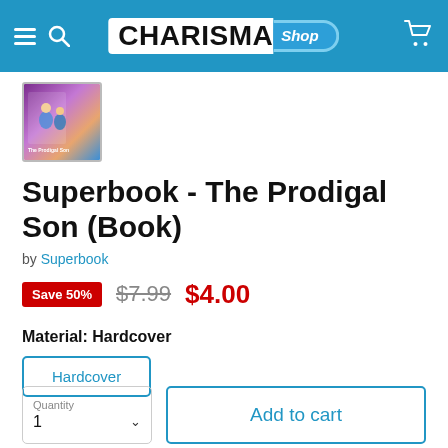CHARISMA Shop
[Figure (photo): Superbook - The Prodigal Son book cover thumbnail showing animated characters]
Superbook - The Prodigal Son (Book)
by Superbook
Save 50%  $7.99  $4.00
Material: Hardcover
Hardcover
Quantity 1  Add to cart